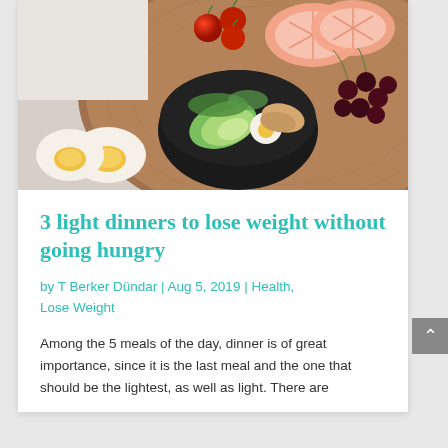[Figure (photo): Overhead view of a wooden board with healthy foods: cherry tomatoes, grapefruit slices, dark cherries, halved boiled eggs, and a dark bowl filled with avocado slices, egg, and salad greens.]
3 light dinners to lose weight without going hungry
by T Berker Dündar | Aug 5, 2019 | Health, Lose Weight
Among the 5 meals of the day, dinner is of great importance, since it is the last meal and the one that should be the lightest, as well as light. There are